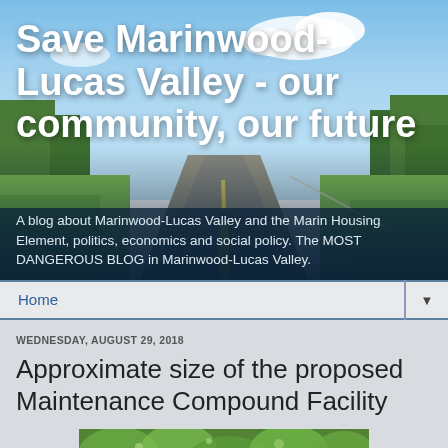Save Marinwood-Lucas Valley - our community, our future
A blog about Marinwood-Lucas Valley and the Marin Housing Element, politics, economics and social policy. The MOST DANGEROUS BLOG in Marinwood-Lucas Valley.
Home
WEDNESDAY, AUGUST 29, 2018
Approximate size of the proposed Maintenance Compound Facility
[Figure (photo): Partial photo of a green forested/garden area, partially visible at the bottom of the page]